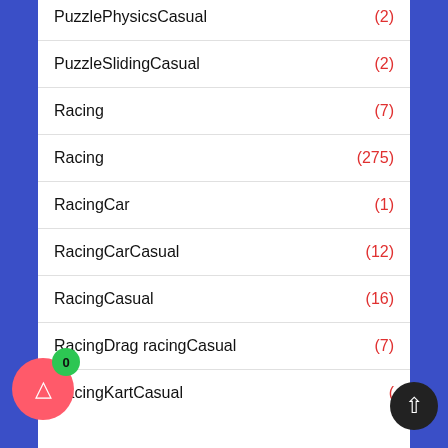PuzzlePhysicsCasual (2)
PuzzleSlidingCasual (2)
Racing (7)
Racing (275)
RacingCar (1)
RacingCarCasual (12)
RacingCasual (16)
RacingDrag racingCasual (7)
RacingKartCasual (